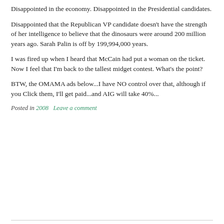Disappointed in the economy. Disappointed in the Presidential candidates.
Disappointed that the Republican VP candidate doesn't have the strength of her intelligence to believe that the dinosaurs were around 200 million years ago. Sarah Palin is off by 199,994,000 years.
I was fired up when I heard that McCain had put a woman on the ticket. Now I feel that I'm back to the tallest midget contest. What's the point?
BTW, the OMAMA ads below...I have NO control over that, although if you Click them, I'll get paid...and AIG will take 40%...
Posted in 2008    Leave a comment